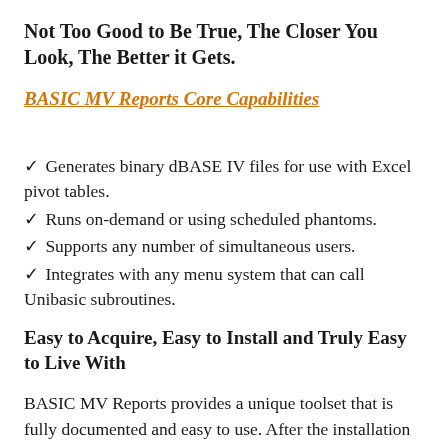Not Too Good to Be True, The Closer You Look, The Better it Gets.
BASIC MV Reports Core Capabilities
Generates binary dBASE IV files for use with Excel pivot tables.
Runs on-demand or using scheduled phantoms.
Supports any number of simultaneous users.
Integrates with any menu system that can call Unibasic subroutines.
Easy to Acquire, Easy to Install and Truly Easy to Live With
BASIC MV Reports provides a unique toolset that is fully documented and easy to use. After the installation and completion of an initial project, your Unibasic